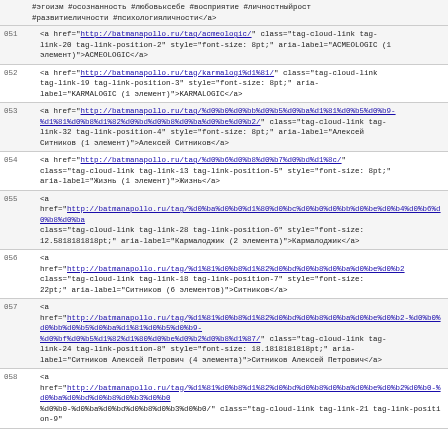#эгоизм #осознанность #любовьксебе #восприятие #личностныйрост #развитиеличности #психологияличности</a>
051 <a href="http://batmanapollo.ru/tag/acmeologic/" class="tag-cloud-link tag-link-20 tag-link-position-2" style="font-size: 8pt;" aria-label="ACMEOLOGIC (1 элемент)">ACMEOLOGIC</a>
052 <a href="http://batmanapollo.ru/tag/karmalogi%d1%81/" class="tag-cloud-link tag-link-19 tag-link-position-3" style="font-size: 8pt;" aria-label="KARMALOGIC (1 элемент)">KARMALOGIC</a>
053 <a href="http://batmanapollo.ru/tag/%d0%b0%d0%bb%d0%b5%d0%ba%d1%81%d0%b5%d0%b9-%d1%81%d0%b8%d1%82%d0%bd%d0%b8%d0%ba%d0%be%d0%b2/" class="tag-cloud-link tag-link-32 tag-link-position-4" style="font-size: 8pt;" aria-label="Алексей Ситников (1 элемент)">Алексей Ситников</a>
054 <a href="http://batmanapollo.ru/tag/%d0%b6%d0%b8%d0%b7%d0%bd%d1%8c/" class="tag-cloud-link tag-link-13 tag-link-position-5" style="font-size: 8pt;" aria-label="Жизнь (1 элемент)">Жизнь</a>
055 <a href="http://batmanapollo.ru/tag/%d0%ba%d0%b0%d1%80%d0%bc%d0%b0%d0%bb%d0%be%d0%b4%d0%b6%d0%b8%d0%ba/" class="tag-cloud-link tag-link-28 tag-link-position-6" style="font-size: 12.5818181818pt;" aria-label="Кармалоджик (2 элемента)">Кармалоджик</a>
056 <a href="http://batmanapollo.ru/tag/%d1%81%d0%b8%d1%82%d0%bd%d0%b8%d0%ba%d0%be%d0%b2/" class="tag-cloud-link tag-link-18 tag-link-position-7" style="font-size: 22pt;" aria-label="Ситников (6 элементов)">Ситников</a>
057 <a href="http://batmanapollo.ru/tag/%d1%81%d0%b8%d1%82%d0%bd%d0%b8%d0%ba%d0%be%d0%b2-%d0%b0%d0%bb%d0%b5%d0%ba%d1%81%d0%b5%d0%b9-%d0%bf%d0%b5%d1%82%d1%80%d0%be%d0%b2%d0%b8%d1%87/" class="tag-cloud-link tag-link-24 tag-link-position-8" style="font-size: 18.1818181818pt;" aria-label="Ситников Алексей Петрович (4 элемента)">Ситников Алексей Петрович</a>
058 <a href="http://batmanapollo.ru/tag/%d1%81%d0%b8%d1%82%d0%bd%d0%b8%d0%ba%d0%be%d0%b2%d0%b0-%d0%ba%d0%bd%d0%b8%d0%b3%d0%b0/ class="tag-cloud-link tag-link-21 tag-link-position-9"